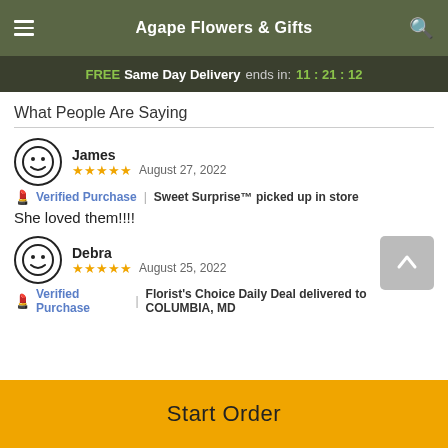Agape Flowers & Gifts
FREE Same Day Delivery ends in: 11:21:12
What People Are Saying
James
★★★★★  August 27, 2022
🏷 Verified Purchase | Sweet Surprise™ picked up in store
She loved them!!!!
Debra
★★★★★  August 25, 2022
🏷 Verified Purchase | Florist's Choice Daily Deal delivered to COLUMBIA, MD